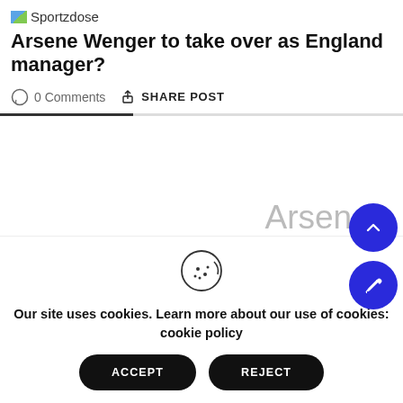Sportzdose
Arsene Wenger to take over as England manager?
0 Comments   SHARE POST
Arsenal for another year as
Our site uses cookies. Learn more about our use of cookies: cookie policy
ACCEPT
REJECT